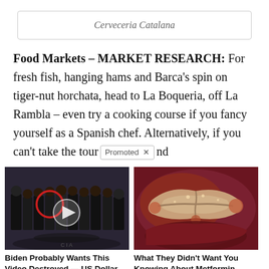Cerveceria Catalana
Food Markets – MARKET RESEARCH: For fresh fish, hanging hams and Barca's spin on tiger-nut horchata, head to La Boqueria, off La Rambla – even try a cooking course if you fancy yourself as a Spanish chef. Alternatively, if you can't take the tour [Promoted ×] nd
[Figure (photo): Group of men in suits standing in front of CIA logo floor, with a red circle drawn around one person and a video play button overlay. Promoted ad image for political video content.]
Biden Probably Wants This Video Destroyed — US Dollar On Path Towards Replacement?
🔥 575,775
[Figure (photo): Close-up anatomical image of a pancreas and surrounding organs. Promoted ad image for Metformin health content.]
What They Didn't Want You Knowing About Metformin
🔥 208,934